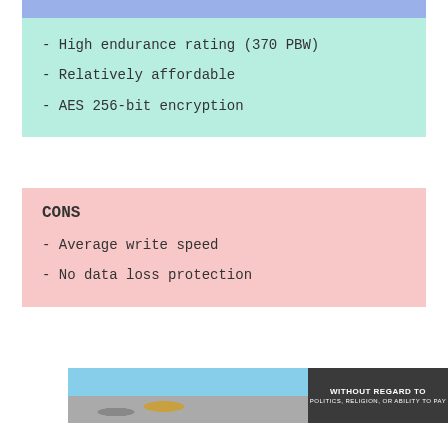- High endurance rating (370 PBW)
- Relatively affordable
- AES 256-bit encryption
CONS
- Average write speed
- No data loss protection
[Figure (photo): Advertisement banner showing cargo being loaded onto a yellow and red airplane on a tarmac, with dark overlay panel reading 'WITHOUT REGARD TO POLITICS, RELIGION, OR ABILITY TO PAY']